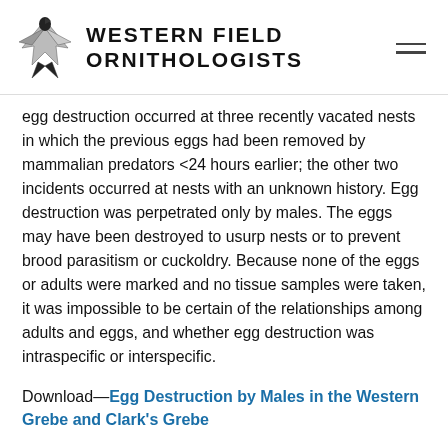Western Field Ornithologists
egg destruction occurred at three recently vacated nests in which the previous eggs had been removed by mammalian predators <24 hours earlier; the other two incidents occurred at nests with an unknown history. Egg destruction was perpetrated only by males. The eggs may have been destroyed to usurp nests or to prevent brood parasitism or cuckoldry. Because none of the eggs or adults were marked and no tissue samples were taken, it was impossible to be certain of the relationships among adults and eggs, and whether egg destruction was intraspecific or interspecific.
Download—Egg Destruction by Males in the Western Grebe and Clark's Grebe